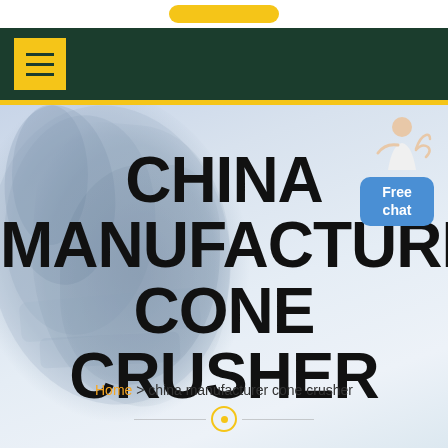Navigation bar with menu button
[Figure (screenshot): Website header with dark green navigation bar containing yellow hamburger menu button, yellow stripe below, and hero section with cone crusher machinery background image]
CHINA MANUFACTURER CONE CRUSHER
Home > china manufacturer cone crusher
[Figure (illustration): Free chat widget with blue rounded rectangle button showing 'Free chat' text and a customer service person silhouette above it]
scroll indicator with horizontal lines and circular dot